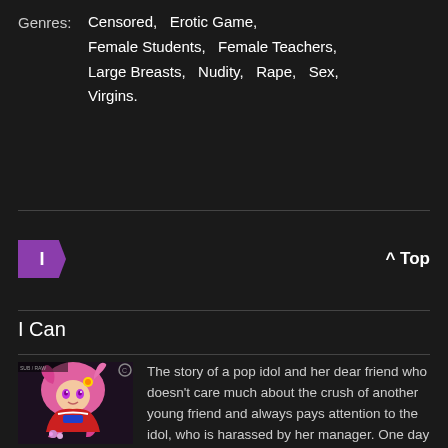Genres: Censored, Erotic Game, Female Students, Female Teachers, Large Breasts, Nudity, Rape, Sex, Virgins.
I
^ Top
I Can
[Figure (illustration): Anime/manga style illustration of a pink-haired girl character]
The story of a pop idol and her dear friend who doesn't care much about the crush of another young friend and always pays attention to the idol, who is harassed by her manager. One day they are about to have sex in the dressing rooms when the manager founds out via the camara and gets in the room